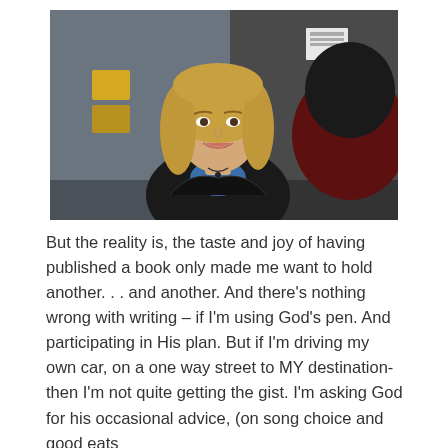[Figure (photo): A smiling young blonde woman in a black leather jacket and blue top, wearing a necklace, standing in what appears to be an indoor hallway or corridor. The back of another person's head is visible in the foreground right. An NBC peacock logo is visible on the wall behind her. A yellow sign and a white notice are visible on the wall to her left.]
But the reality is, the taste and joy of having published a book only made me want to hold another. . . and another. And there's nothing wrong with writing – if I'm using God's pen. And participating in His plan. But if I'm driving my own car, on a one way street to MY destination- then I'm not quite getting the gist. I'm asking God for his occasional advice, (on song choice and good eats